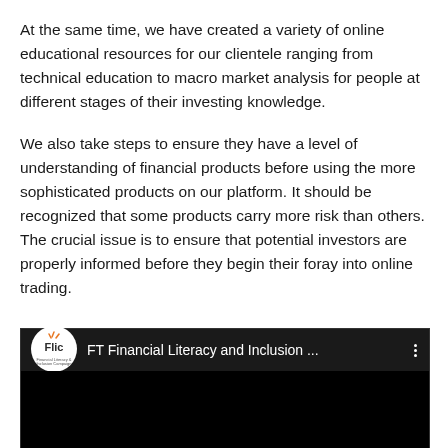At the same time, we have created a variety of online educational resources for our clientele ranging from technical education to macro market analysis for people at different stages of their investing knowledge.
We also take steps to ensure they have a level of understanding of financial products before using the more sophisticated products on our platform. It should be recognized that some products carry more risk than others. The crucial issue is to ensure that potential investors are properly informed before they begin their foray into online trading.
[Figure (screenshot): Embedded YouTube-style video player showing 'FT Financial Literacy and Inclusion ...' channel with Flic logo, dark top bar with channel name and menu dots, black video area, and a green scroll-to-top button in the bottom right corner.]